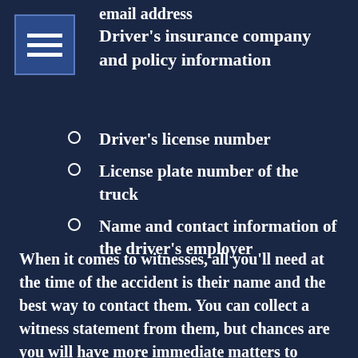email address
[Figure (other): Menu icon with three horizontal white bars on a blue square background]
Driver's insurance company and policy information
Driver's license number
License plate number of the truck
Name and contact information of the driver's employer
When it comes to witnesses, all you'll need at the time of the accident is their name and the best way to contact them. You can collect a witness statement from them, but chances are you will have more immediate matters to address. Don't worry, though – a personal injury attorney can